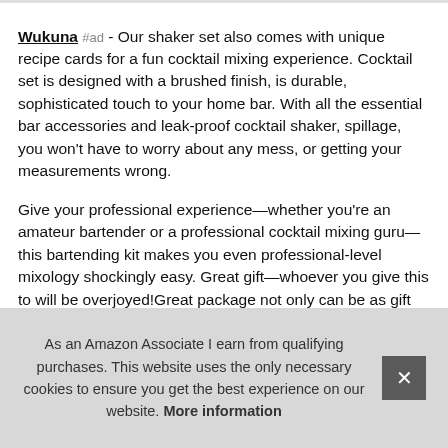Wukuna #ad - Our shaker set also comes with unique recipe cards for a fun cocktail mixing experience. Cocktail set is designed with a brushed finish, is durable, sophisticated touch to your home bar. With all the essential bar accessories and leak-proof cocktail shaker, spillage, you won't have to worry about any mess, or getting your measurements wrong.
Give your professional experience—whether you're an amateur bartender or a professional cocktail mixing guru—this bartending kit makes you even professional-level mixology shockingly easy. Great gift—whoever you give this to will be overjoyed!Great package not only can be as gift for yourself, hou... birt...
As an Amazon Associate I earn from qualifying purchases. This website uses the only necessary cookies to ensure you get the best experience on our website. More information